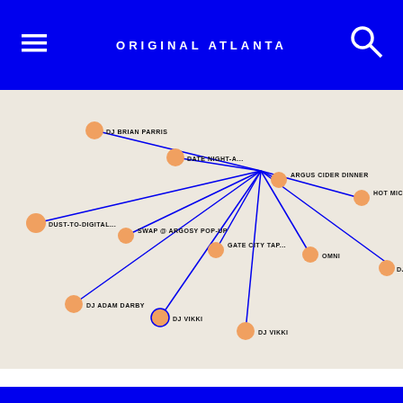ORIGINAL ATLANTA
[Figure (network-graph): A network graph showing nodes (orange circles) connected by blue lines. Nodes are labeled with event/DJ names: DJ BRIAN PARRIS, DATE NIGHT-A..., ARGUS CIDER DINNER, HOT MIC, DUST-TO-DIGITAL..., SWAP @ ARGOSY POP-UP, GATE CITY TAP..., OMNI, DJ (truncated), DJ ADAM DARBY, DJ VIKKI, DJ VIKKI. All lines converge roughly toward the center-upper area of the graph.]